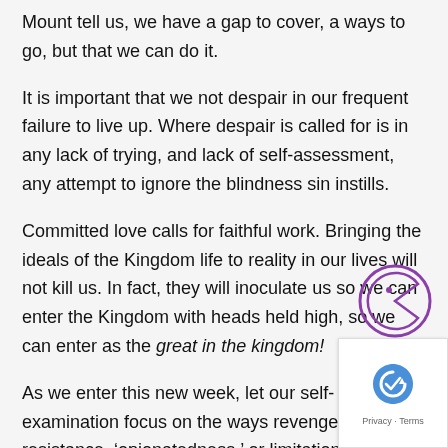Mount tell us, we have a gap to cover, a ways to go, but that we can do it.
It is important that we not despair in our frequent failure to live up. Where despair is called for is in any lack of trying, and lack of self-assessment, any attempt to ignore the blindness sin instills.
Committed love calls for faithful work. Bringing the ideals of the Kingdom life to reality in our lives will not kill us. In fact, they will inoculate us so we can enter the Kingdom with heads held high, so we can enter as the great in the kingdom!
As we enter this new week, let our self-examination focus on the ways revenge, hate, resistance, ‘opionatedness,’ or limitation exist in our lives. Let us